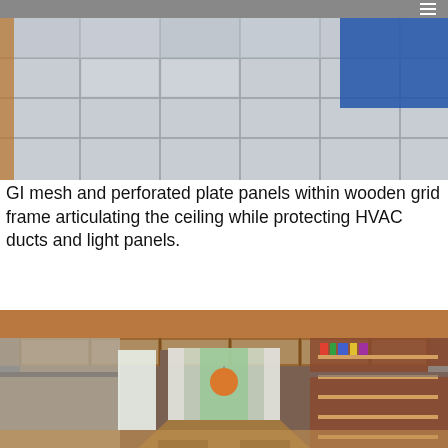[Figure (photo): Interior architectural photo showing a ceiling with GI mesh and perforated plate panels within a wooden grid frame, with a blue object visible in the upper right corner]
GI mesh and perforated plate panels within wooden grid frame articulating the ceiling while protecting HVAC ducts and light panels.
[Figure (photo): Interior photo of a long dining/meeting room with wooden ceiling beams forming a grid, GI mesh panels visible in the ceiling, exposed brick wall with bookshelves on the right, large windows with sheer curtains at the far end, an orange pendant light, and a long wooden table with benches]